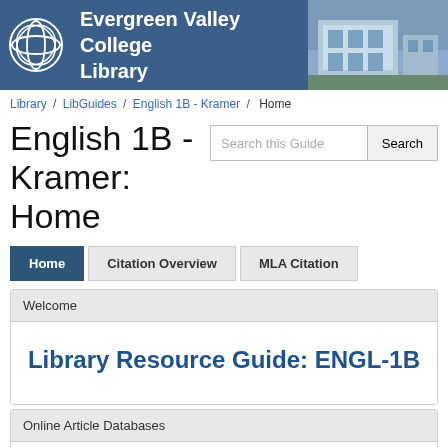[Figure (logo): Evergreen Valley College Library banner with logo and building photo]
Library / LibGuides / English 1B - Kramer / Home
English 1B - Kramer: Home
Search this Guide [Search button]
Home | Citation Overview | MLA Citation
Welcome
Library Resource Guide: ENGL-1B
Online Article Databases
Search the library's online Article Databases for biographies, essays, and literary critiques on a variety of authors and their works.